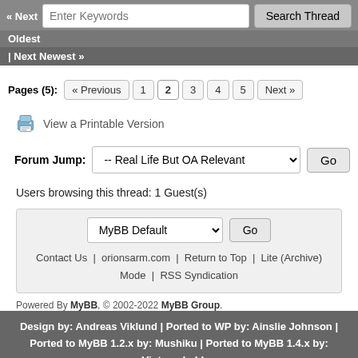« Next | Enter Keywords | Search Thread | Oldest
| Next Newest »
Pages (5): « Previous 1 2 3 4 5 Next »
View a Printable Version
Forum Jump: -- Real Life But OA Relevant Go
Users browsing this thread: 1 Guest(s)
MyBB Default Go
Contact Us | orionsarm.com | Return to Top | Lite (Archive) Mode | RSS Syndication
Powered By MyBB, © 2002-2022 MyBB Group.
Design by: Andreas Viklund | Ported to WP by: Ainslie Johnson | Ported to MyBB 1.2.x by: Mushiku | Ported to MyBB 1.4.x by: Vintagedaddyo